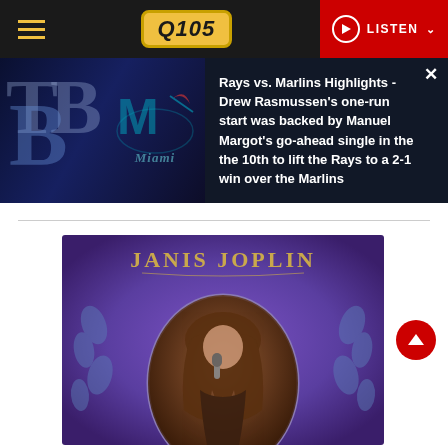Q105 - LISTEN
[Figure (screenshot): News banner showing Tampa Bay Rays vs Miami Marlins logos on dark background with sports highlights text]
Rays vs. Marlins Highlights - Drew Rasmussen's one-run start was backed by Manuel Margot's go-ahead single in the the 10th to lift the Rays to a 2-1 win over the Marlins
[Figure (photo): Janis Joplin album/promotional artwork on purple background with gold art-nouveau style text and sepia portrait in oval frame]